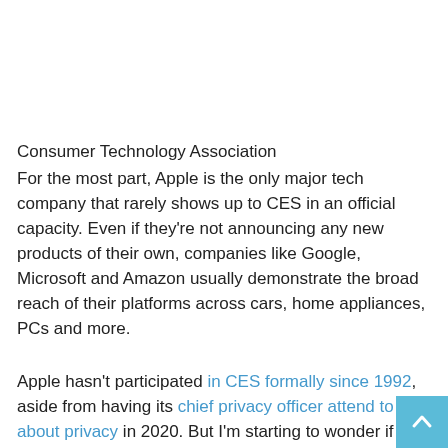Consumer Technology Association
For the most part, Apple is the only major tech company that rarely shows up to CES in an official capacity. Even if they're not announcing any new products of their own, companies like Google, Microsoft and Amazon usually demonstrate the broad reach of their platforms across cars, home appliances, PCs and more.
Apple hasn't participated in CES formally since 1992, aside from having its chief privacy officer attend to talk about privacy in 2020. But I'm starting to wonder if it should. Relationships with third-party partners and developers are as important as